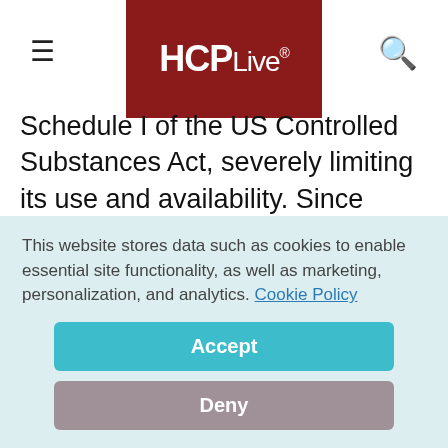HCPLive®
Schedule I of the US Controlled Substances Act, severely limiting its use and availability. Since 2000, GHB has occupied a “split” position on the controlled substances hierarchy: the illicit drug GHB remains on Schedule I, while the compound “when used for medical purposes” is Schedule III.
This website stores data such as cookies to enable essential site functionality, as well as marketing, personalization, and analytics. Cookie Policy
Accept
Deny